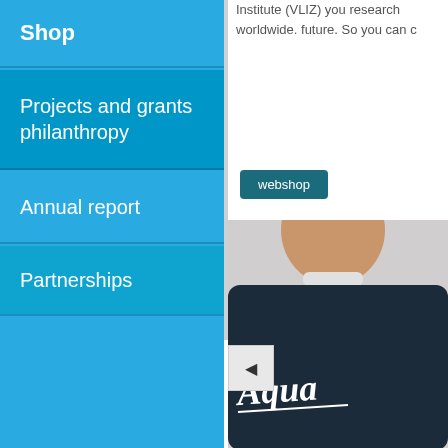Shop
Projects and grants philanthropy
Annual report
Partnerships
Institute (VLIZ) you research worldwide. future. So you can c
webshop
[Figure (photo): Person wearing a dark navy t-shirt with 'Aqua' script text visible, cropped at neck/shoulder area]